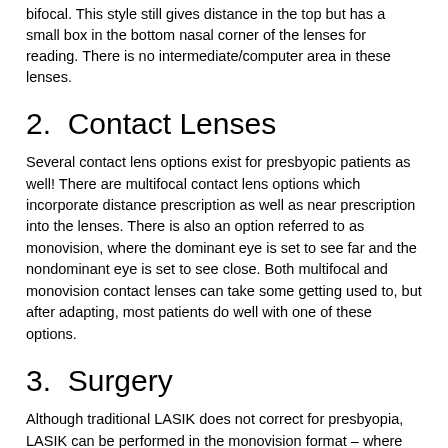bifocal. This style still gives distance in the top but has a small box in the bottom nasal corner of the lenses for reading. There is no intermediate/computer area in these lenses.
2.  Contact Lenses
Several contact lens options exist for presbyopic patients as well! There are multifocal contact lens options which incorporate distance prescription as well as near prescription into the lenses. There is also an option referred to as monovision, where the dominant eye is set to see far and the nondominant eye is set to see close. Both multifocal and monovision contact lenses can take some getting used to, but after adapting, most patients do well with one of these options.
3.  Surgery
Although traditional LASIK does not correct for presbyopia, LASIK can be performed in the monovision format – where one eye is corrected for far and the other eye is corrected for near. Since not all patients adapt well to monovision, it is wise to test this out for